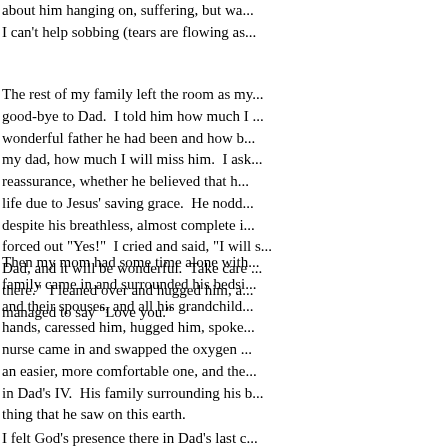about him hanging on, suffering, but wa... I can't help sobbing (tears are flowing as...
The rest of my family left the room as my... good-bye to Dad. I told him how much I... wonderful father he had been and how b... my dad, how much I will miss him. I ask... reassurance, whether he believed that h... life due to Jesus' saving grace. He nodd... despite his breathless, almost complete i... forced out "Yes!" I cried and said, "I will s... Dad, and it will be wonderful. Take care... there." I leaned over and hugged him, a... managed to say "Love you."
Then my mom had some time alone with... family came in and surrounded his bedsi... and their spouses, and all his grandchild... hands, caressed him, hugged him, spoke... nurse came in and swapped the oxygen... an easier, more comfortable one, and the... in Dad's IV. His family surrounding his b... thing that he saw on this earth.
I felt God's presence there in Dad's last c...